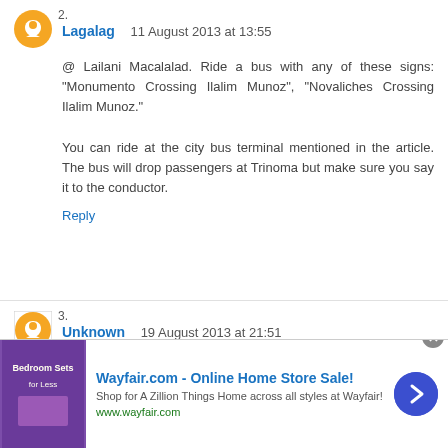2.
Lagalag   11 August 2013 at 13:55
@ Lailani Macalalad. Ride a bus with any of these signs: "Monumento Crossing Ilalim Munoz", "Novaliches Crossing Ilalim Munoz."
You can ride at the city bus terminal mentioned in the article. The bus will drop passengers at Trinoma but make sure you say it to the conductor.
Reply
3.
Unknown  19 August 2013 at 21:51
how to get into welcome rotonda q.c from southwest terminal? And how much fare will i
[Figure (infographic): Wayfair.com advertisement banner with image of bedroom sets, ad title 'Wayfair.com - Online Home Store Sale!', description 'Shop for A Zillion Things Home across all styles at Wayfair!', URL www.wayfair.com, and a blue arrow button]